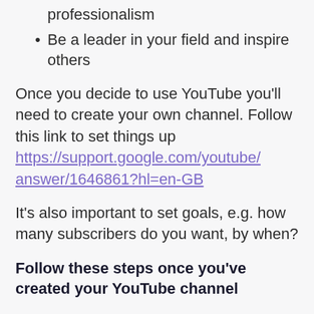professionalism
Be a leader in your field and inspire others
Once you decide to use YouTube you'll need to create your own channel. Follow this link to set things up https://support.google.com/youtube/answer/1646861?hl=en-GB
It's also important to set goals, e.g. how many subscribers do you want, by when?
Follow these steps once you've created your YouTube channel